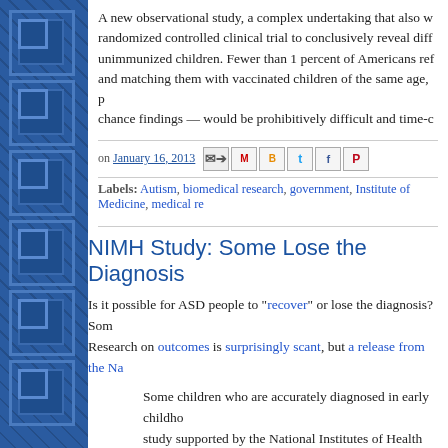A new observational study, a complex undertaking that also w... randomized controlled clinical trial to conclusively reveal diff... unimmunized children. Fewer than 1 percent of Americans ref... and matching them with vaccinated children of the same age, p... chance findings — would be prohibitively difficult and time-c...
on January 16, 2013
Labels: Autism, biomedical research, government, Institute of Medicine, medical re...
NIMH Study: Some Lose the Diagnosis
Is it possible for ASD people to "recover" or lose the diagnosis?  Som... Research on outcomes is surprisingly scant, but a release from the Na...
Some children who are accurately diagnosed in early childho... study supported by the National Institutes of Health has confir... diagnosis of autism in a small group of school-age children an...
The report is the first of a series that will probe more deeply i... at one time with an autism spectrum disorder (ASD), these yo... study team is continuing to analyze data on changes in brain f... deficits. The team is also reviewing records on the types of int... role in the transition.